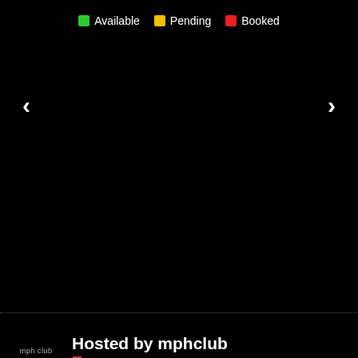[Figure (infographic): Calendar availability legend showing Available (green), Pending (yellow), Booked (red) status indicators with navigation arrows on dark background]
Hosted by mphclub
Super Host
Profile Status
Verified
$1,995/day
Request to Book